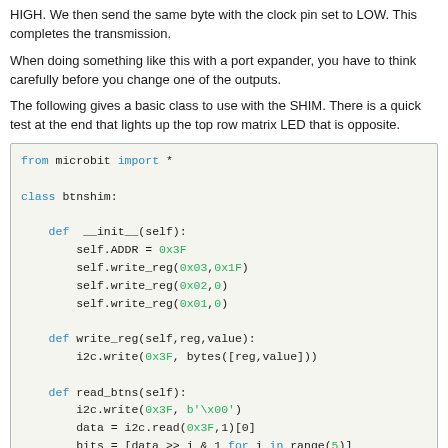HIGH. We then send the same byte with the clock pin set to LOW. This completes the transmission.
When doing something like this with a port expander, you have to think carefully before you change one of the outputs.
The following gives a basic class to use with the SHIM. There is a quick test at the end that lights up the top row matrix LED that is opposite.
[Figure (screenshot): Python code block showing a btnshim class with __init__, write_reg, read_btns, and write_byte methods using i2c and microbit library]